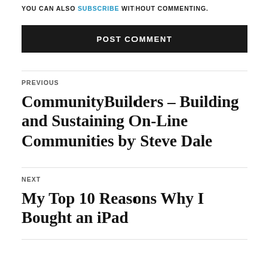YOU CAN ALSO SUBSCRIBE WITHOUT COMMENTING.
POST COMMENT
PREVIOUS
CommunityBuilders – Building and Sustaining On-Line Communities by Steve Dale
NEXT
My Top 10 Reasons Why I Bought an iPad